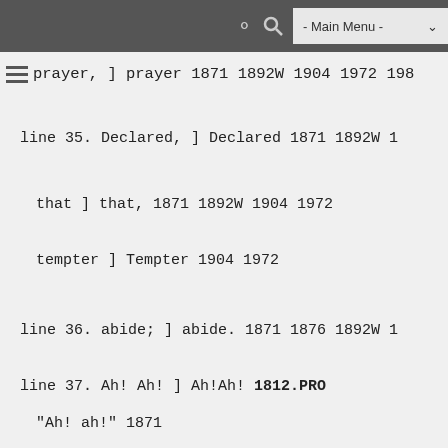- Main Menu -
prayer, ] prayer 1871 1892W 1904 1972 198…
line 35. Declared, ] Declared 1871 1892W 1…
that ] that, 1871 1892W 1904 1972
tempter ] Tempter 1904 1972
line 36. abide; ] abide. 1871 1876 1892W 1…
line 37. Ah! Ah! ] Ah!Ah! 1812.PRO
"Ah! ah!" 1871